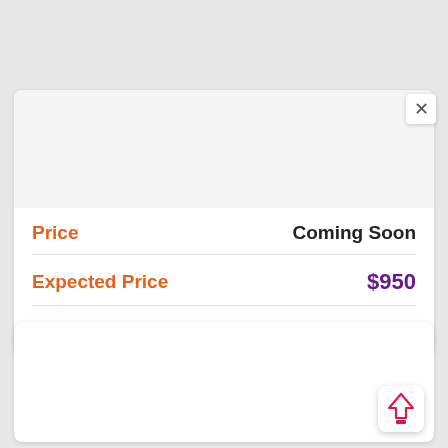[Figure (screenshot): Top product card with image placeholder, close button (×), price rows and online store offers link]
Price
Coming Soon
Expected Price
$950
Online Store Offers
[Figure (screenshot): Bottom product card (partially visible), with a scroll-up arrow button in the bottom-right corner]